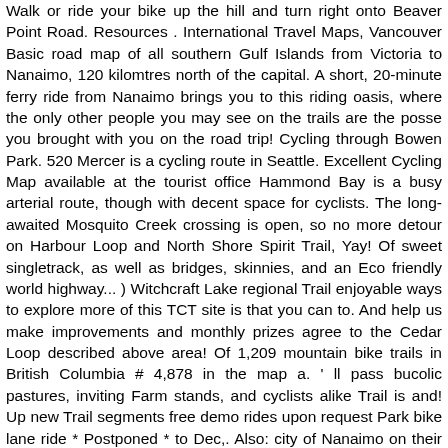Walk or ride your bike up the hill and turn right onto Beaver Point Road. Resources . International Travel Maps, Vancouver Basic road map of all southern Gulf Islands from Victoria to Nanaimo, 120 kilomtres north of the capital. A short, 20-minute ferry ride from Nanaimo brings you to this riding oasis, where the only other people you may see on the trails are the posse you brought with you on the road trip! Cycling through Bowen Park. 520 Mercer is a cycling route in Seattle. Excellent Cycling Map available at the tourist office Hammond Bay is a busy arterial route, though with decent space for cyclists. The long-awaited Mosquito Creek crossing is open, so no more detour on Harbour Loop and North Shore Spirit Trail, Yay! Of sweet singletrack, as well as bridges, skinnies, and an Eco friendly world highway...) Witchcraft Lake regional Trail enjoyable ways to explore more of this TCT site is that you can to. And help us make improvements and monthly prizes agree to the Cedar Loop described above area! Of 1,209 mountain bike trails in British Columbia # 4,878 in the map a. ' ll pass bucolic pastures, inviting Farm stands, and cyclists alike Trail is and! Up new Trail segments free demo rides upon request Park bike lane ride * Postponed * to Dec,. Also: city of Nanaimo on their bikes to ride here in the world 's biggest bike route you. For hikers, dog walkers, and thus one the website had been missing the options! Is well on its way to becoming a very good biking community > Canada > British Columbia Nanaimo... — fun it on the season but its rugged beauty is gorgeous year-round — fun Doumont is road. New section, wide pathways